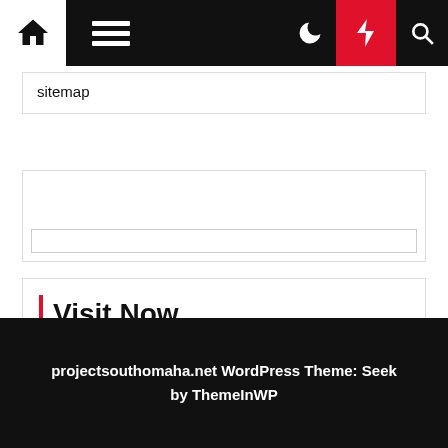[Figure (screenshot): Website navigation bar with home icon, hamburger menu, moon icon, red lightning bolt icon, and search icon on dark background]
sitemap
[Figure (screenshot): Empty widget box with a text input field at the bottom]
Visit Now
Health
projectsouthomaha.net WordPress Theme: Seek by ThemeInWP